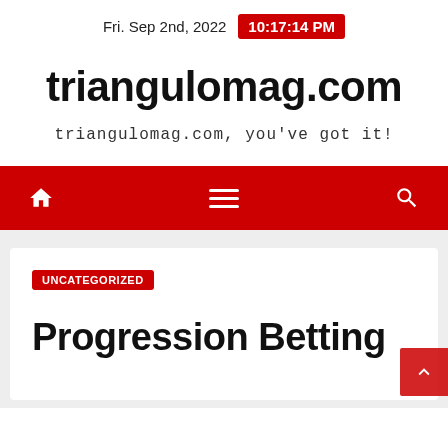Fri. Sep 2nd, 2022  10:17:14 PM
triangulomag.com
triangulomag.com, you've got it!
[Figure (other): Red navigation bar with home icon, hamburger menu, and search icon]
UNCATEGORIZED
Progression Betting